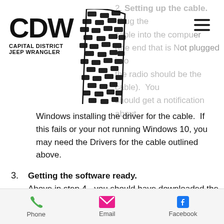[Figure (logo): Capital District Jeep Wrangler logo with CDW text and tire track graphic]
2. Setting up the cable. Plug the cable into the computer (the end that is NOT plugged into the radio should be plugged into the cable). You should get a notification about Windows installing the driver for the cable. If this fails or your not running Windows 10, you may need the Drivers for the cable outlined above.
3. Getting the software ready. Above in step 4 - you should have downloaded the chirp. If you have not already installed the software, please do so.
4. Connecting your radio to the
Phone  Email  Facebook